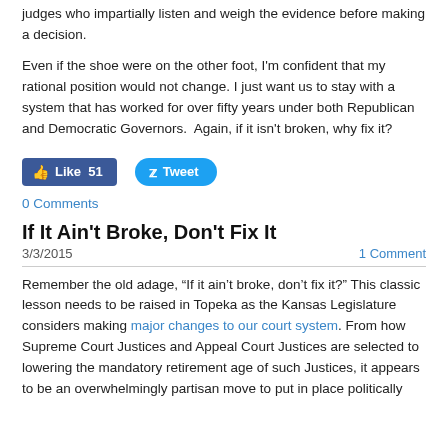judges who impartially listen and weigh the evidence before making a decision.
Even if the shoe were on the other foot, I'm confident that my rational position would not change. I just want us to stay with a system that has worked for over fifty years under both Republican and Democratic Governors.  Again, if it isn't broken, why fix it?
[Figure (screenshot): Social media buttons: Facebook Like (51) and Twitter Tweet]
0 Comments
If It Ain't Broke, Don't Fix It
3/3/2015    1 Comment
Remember the old adage, "If it ain't broke, don't fix it?" This classic lesson needs to be raised in Topeka as the Kansas Legislature considers making major changes to our court system. From how Supreme Court Justices and Appeal Court Justices are selected to lowering the mandatory retirement age of such Justices, it appears to be an overwhelmingly partisan move to put in place politically